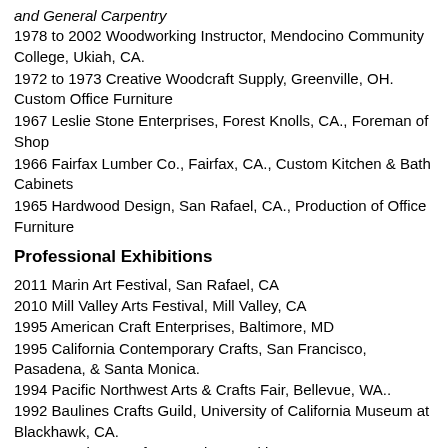and General Carpentry
1978 to 2002 Woodworking Instructor, Mendocino Community College, Ukiah, CA.
1972 to 1973 Creative Woodcraft Supply, Greenville, OH. Custom Office Furniture
1967 Leslie Stone Enterprises, Forest Knolls, CA., Foreman of Shop
1966 Fairfax Lumber Co., Fairfax, CA., Custom Kitchen & Bath Cabinets
1965 Hardwood Design, San Rafael, CA., Production of Office Furniture
Professional Exhibitions
2011 Marin Art Festival, San Rafael, CA
2010 Mill Valley Arts Festival, Mill Valley, CA
1995 American Craft Enterprises, Baltimore, MD
1995 California Contemporary Crafts, San Francisco, Pasadena, & Santa Monica.
1994 Pacific Northwest Arts & Crafts Fair, Bellevue, WA..
1992 Baulines Crafts Guild, University of California Museum at Blackhawk, CA.
1992 American Craft Enterprises, Baltimore, MD.
1992 Baulines Crafts Guild, "California Design '92" San